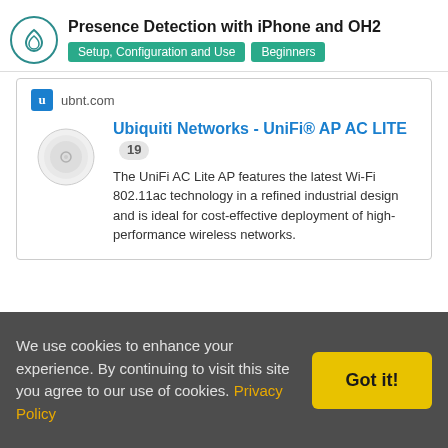Presence Detection with iPhone and OH2 | Setup, Configuration and Use | Beginners
[Figure (screenshot): Ubiquiti Networks - UniFi® AP AC LITE product card from ubnt.com showing product image and description. The UniFi AC Lite AP features the latest Wi-Fi 802.11ac technology in a refined industrial design and is ideal for cost-effective deployment of high-performance wireless networks.]
But you can select whatever fit's your need.
Just set them up, where you need Wifi, and connect them to
We use cookies to enhance your experience. By continuing to visit this site you agree to our use of cookies. Privacy Policy